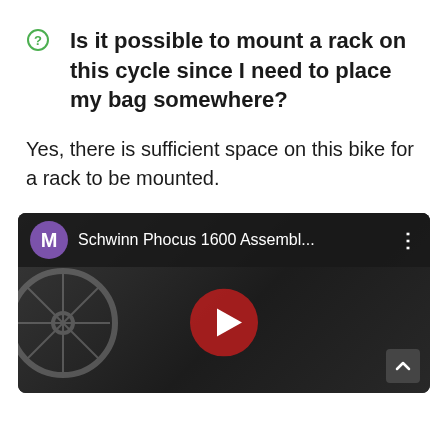Is it possible to mount a rack on this cycle since I need to place my bag somewhere?
Yes, there is sufficient space on this bike for a rack to be mounted.
[Figure (screenshot): YouTube video thumbnail showing 'Schwinn Phocus 1600 Assembl...' with a purple M avatar icon, a play button overlay, and a bicycle wheel visible in the dark background]